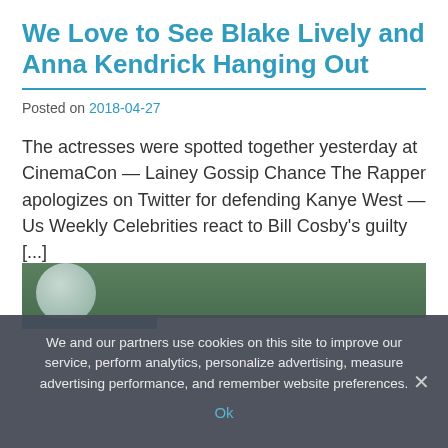We Love to See Blake Lively and Anna Kendrick Hanging Out
Posted on 2018-04-27
The actresses were spotted together yesterday at CinemaCon — Lainey Gossip Chance The Rapper apologizes on Twitter for defending Kanye West — Us Weekly Celebrities react to Bill Cosby's guilty [...]
READ MORE
[Figure (photo): Partial photo of a person, cropped at bottom of article]
We and our partners use cookies on this site to improve our service, perform analytics, personalize advertising, measure advertising performance, and remember website preferences.
Ok